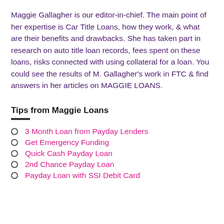Maggie Gallagher is our editor-in-chief. The main point of her expertise is Car Title Loans, how they work, & what are their benefits and drawbacks. She has taken part in research on auto title loan records, fees spent on these loans, risks connected with using collateral for a loan. You could see the results of M. Gallagher's work in FTC & find answers in her articles on MAGGIE LOANS.
Tips from Maggie Loans
3 Month Loan from Payday Lenders
Get Emergency Funding
Quick Cash Payday Loan
2nd Chance Payday Loan
Payday Loan with SSI Debit Card